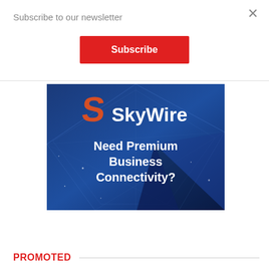Subscribe to our newsletter
Subscribe
[Figure (illustration): SkyWire advertisement banner with blue geometric background, orange S logo, white SkyWire text, and white bold text reading 'Need Premium Business Connectivity?']
PROMOTED